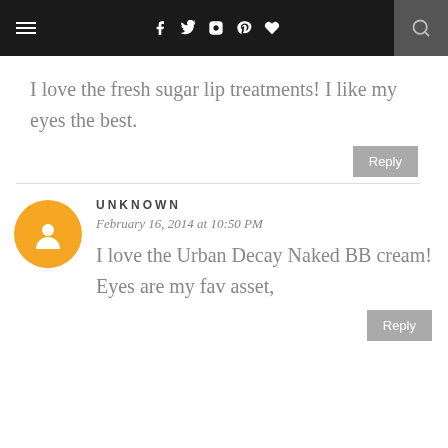Navigation bar with menu, social icons, and search
I love the fresh sugar lip treatments! I like my eyes the best.
Reply
UNKNOWN
February 16, 2014 at 10:50 PM
I love the Urban Decay Naked BB cream! Eyes are my fav asset,
Reply